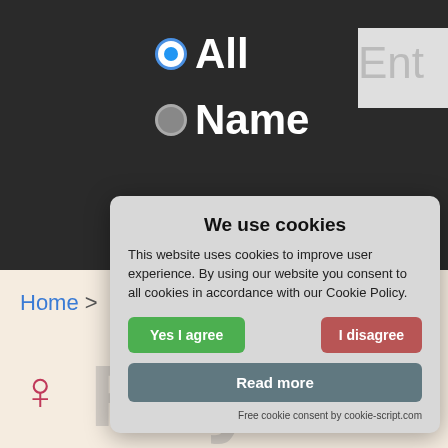[Figure (screenshot): Dark background section of website with radio buttons labeled 'All' and 'Name', and a partial search input box showing 'Ent']
Home >
Reynalda (watermark behind dialog)
[Figure (screenshot): Cookie consent dialog box with title 'We use cookies', body text about cookie policy, 'Yes I agree' green button, 'I disagree' red button, 'Read more' grey button, and footer 'Free cookie consent by cookie-script.com']
We use cookies
This website uses cookies to improve user experience. By using our website you consent to all cookies in accordance with our Cookie Policy.
Yes I agree
I disagree
Read more
Free cookie consent by cookie-script.com
Reynalda (large name text)